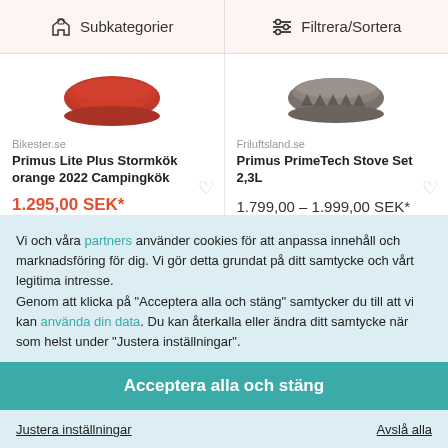Subkategorier | Filtrera/Sortera
[Figure (photo): Red camping stove lid product image]
Bikester.se
Primus Lite Plus Stormkök orange 2022 Campingkök
1.295,00 SEK*
1.485,00*
[Figure (photo): Gray camping stove top product image]
Friluftsland.se
Primus PrimeTech Stove Set 2,3L
1.799,00 – 1.999,00 SEK*
Vi och våra partners använder cookies för att anpassa innehåll och marknadsföring för dig. Vi gör detta grundat på ditt samtycke och vårt legitima intresse.
Genom att klicka på "Acceptera alla och stäng" samtycker du till att vi kan använda din data. Du kan återkalla eller ändra ditt samtycke när som helst under "Justera inställningar".
Acceptera alla och stäng
Justera inställningar
Avslå alla